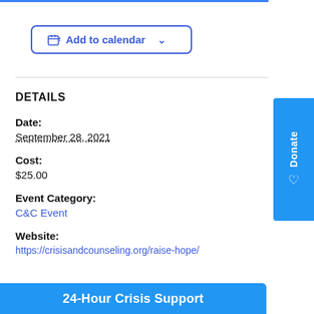[Figure (other): Add to calendar button with calendar icon and chevron dropdown indicator]
DETAILS
Date:
September 28, 2021
Cost:
$25.00
Event Category:
C&C Event
Website:
https://crisisandcounseling.org/raise-hope/
[Figure (other): Blue vertical Donate tab with heart icon on the right side]
24-Hour Crisis Support